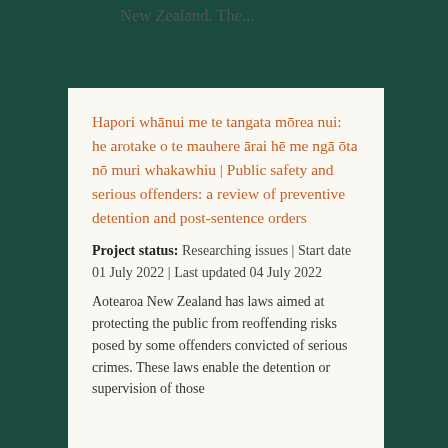New Zealand. The...
Hapori whānui me te tangata mōrea nui: he arotake o te mauhere ārai hē me ngā ōta nō muri whakawhiu | Public safety and serious offenders: a review of preventive detention and post-sentence orders
Project status: Researching issues | Start date 01 July 2022 | Last updated 04 July 2022
Aotearoa New Zealand has laws aimed at protecting the public from reoffending risks posed by some offenders convicted of serious crimes. These laws enable the detention or supervision of those